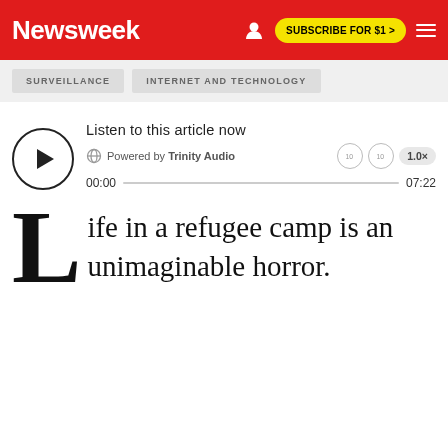Newsweek
SURVEILLANCE
INTERNET AND TECHNOLOGY
[Figure (other): Audio player widget: Listen to this article now, Powered by Trinity Audio, 00:00 / 07:22]
Life in a refugee camp is an unimaginable horror.